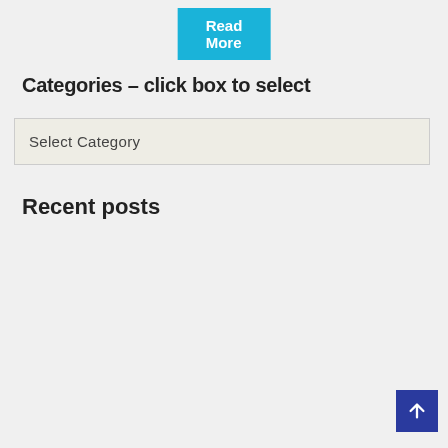[Figure (other): Read More button in cyan/teal color]
Categories – click box to select
Select Category
Recent posts
Why do we not eat horses?
August 24, 2022
Almost all of Australia's invasive rabbits come from one introduction by an Englishman
August 23, 2022
Dogs cry tears of joy when reunited with their owner
August 23, 2022